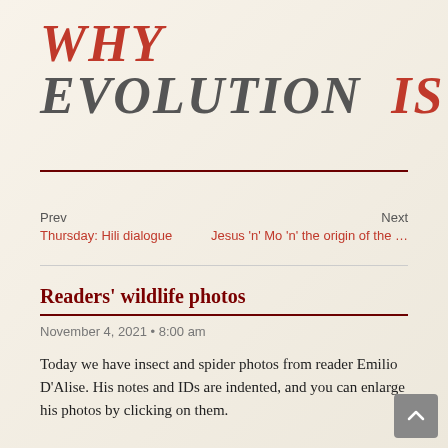WHY EVOLUTION IS TRUE
Prev
Thursday: Hili dialogue
Next
Jesus 'n' Mo 'n' the origin of the ...
Readers' wildlife photos
November 4, 2021 • 8:00 am
Today we have insect and spider photos from reader Emilio D'Alise. His notes and IDs are indented, and you can enlarge his photos by clicking on them.